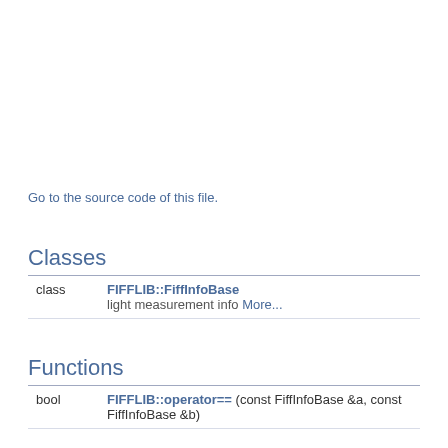Go to the source code of this file.
Classes
|  |  |
| --- | --- |
| class | FIFFLIB::FiffInfoBase
light measurement info More... |
Functions
|  |  |
| --- | --- |
| bool | FIFFLIB::operator== (const FiffInfoBase &a, const FiffInfoBase &b) |